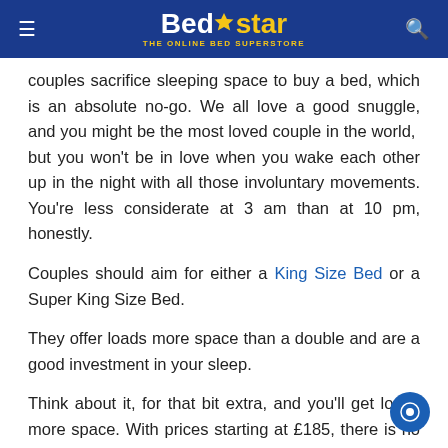Bedstar — THE ONLINE BED SUPERSTORE
couples sacrifice sleeping space to buy a bed, which is an absolute no-go. We all love a good snuggle, and you might be the most loved couple in the world,  but you won't be in love when you wake each other up in the night with all those involuntary movements. You're less considerate at 3 am than at 10 pm, honestly.
Couples should aim for either a King Size Bed or a Super King Size Bed.
They offer loads more space than a double and are a good investment in your sleep.
Think about it, for that bit extra, and you'll get loads more space. With prices starting at £185, there is no better option. So don't get cramped up. Spread your wings and sleep soundly.